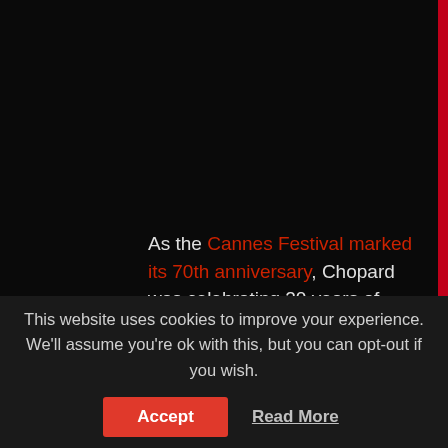As the Cannes Festival marked its 70th anniversary, Chopard was celebrating 20 years of partnership with the world's most glamorous and biggest film event. To commemorate this double anniversary, the Swiss jeweller created an exceptional Palme d'Or. For the very first time, a cloud of diamonds adorned the precious leaf motif. This unique trophy created from
This website uses cookies to improve your experience. We'll assume you're ok with this, but you can opt-out if you wish.